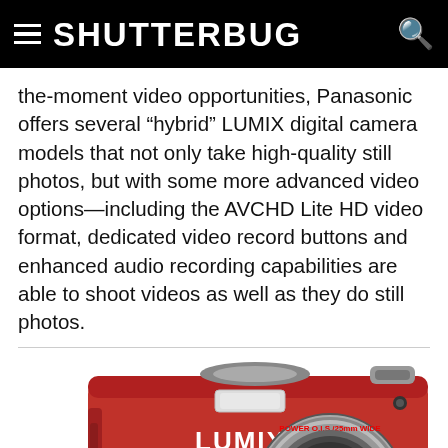SHUTTERBUG
the-moment video opportunities, Panasonic offers several “hybrid” LUMIX digital camera models that not only take high-quality still photos, but with some more advanced video options—including the AVCHD Lite HD video format, dedicated video record buttons and enhanced audio recording capabilities are able to shoot videos as well as they do still photos.
[Figure (photo): Red Panasonic Lumix compact digital camera with Leica lens, shown in close-up front view against white background.]